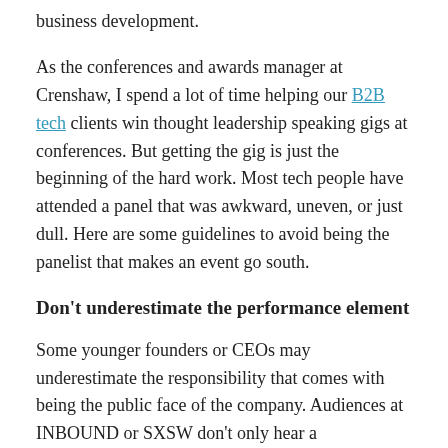business development.
As the conferences and awards manager at Crenshaw, I spend a lot of time helping our B2B tech clients win thought leadership speaking gigs at conferences. But getting the gig is just the beginning of the hard work. Most tech people have attended a panel that was awkward, uneven, or just dull. Here are some guidelines to avoid being the panelist that makes an event go south.
Don't underestimate the performance element
Some younger founders or CEOs may underestimate the responsibility that comes with being the public face of the company. Audiences at INBOUND or SXSW don't only hear a spokesperson's words; they pick up non-verbal cues that help them form an impression of your company. No pressure! If is…